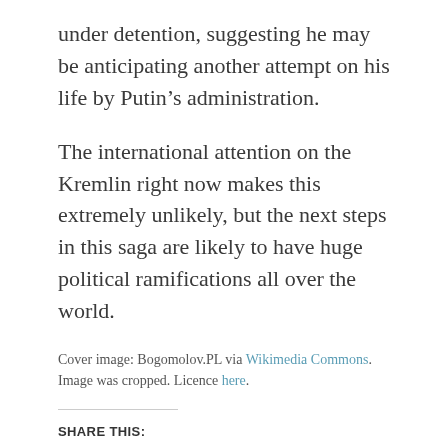under detention, suggesting he may be anticipating another attempt on his life by Putin's administration.
The international attention on the Kremlin right now makes this extremely unlikely, but the next steps in this saga are likely to have huge political ramifications all over the world.
Cover image: Bogomolov.PL via Wikimedia Commons. Image was cropped. Licence here.
SHARE THIS:
Twitter  Facebook